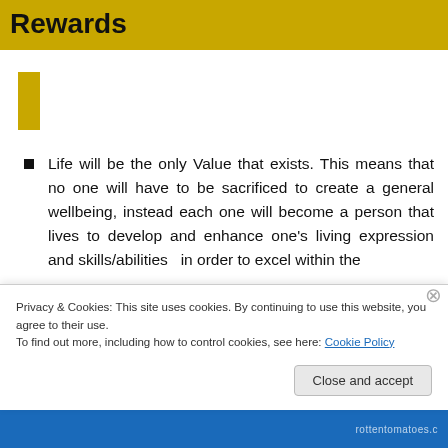Rewards
[Figure (other): Gold/yellow vertical rectangle decorative bar]
Life will be the only Value that exists. This means that no one will have to be sacrificed to create a general wellbeing, instead each one will become a person that lives to develop and enhance one’s living expression and skills/abilities in order to excel within the
Privacy & Cookies: This site uses cookies. By continuing to use this website, you agree to their use.
To find out more, including how to control cookies, see here: Cookie Policy